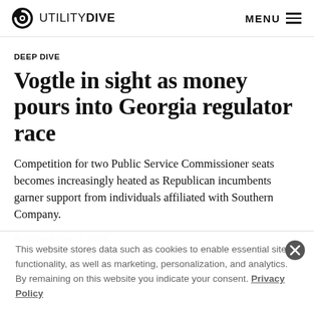UTILITY DIVE  MENU
DEEP DIVE
Vogtle in sight as money pours into Georgia regulator race
Competition for two Public Service Commissioner seats becomes increasingly heated as Republican incumbents garner support from individuals affiliated with Southern Company.
Published Nov. 2, 2018
This website stores data such as cookies to enable essential site functionality, as well as marketing, personalization, and analytics. By remaining on this website you indicate your consent. Privacy Policy